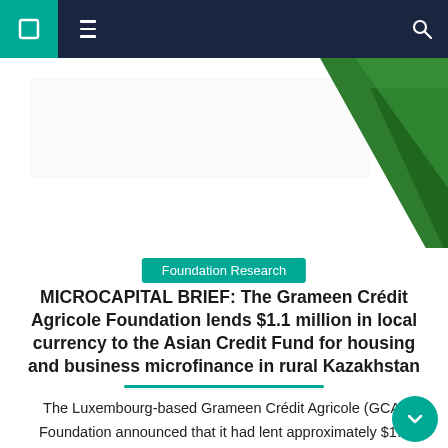Navigation bar with hamburger menu and search icon
[Figure (illustration): Partial green triangle/arrow graphic on white background, part of a larger logo or decorative element]
Foundation Research
MICROCAPITAL BRIEF: The Grameen Crédit Agricole Foundation lends $1.1 million in local currency to the Asian Credit Fund for housing and business microfinance in rural Kazakhstan
The Luxembourg-based Grameen Crédit Agricole (GCA) Foundation announced that it had lent approximately $1.1 million in local currency to Kazakhstan's Asian Credit (ACF) microfinance institution for a three-year term. Founded in 1997 by the American NGO Mercy Corps, ACF